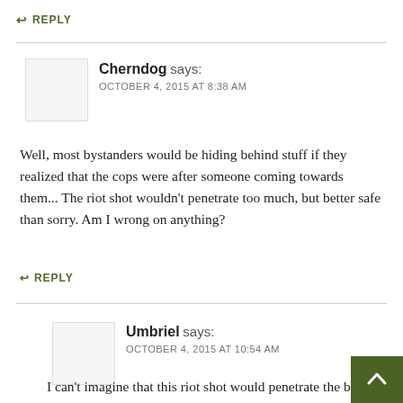↩ REPLY
Cherndog says:
OCTOBER 4, 2015 AT 8:38 AM
Well, most bystanders would be hiding behind stuff if they realized that the cops were after someone coming towards them... The riot shot wouldn't penetrate too much, but better safe than sorry. Am I wrong on anything?
↩ REPLY
Umbriel says:
OCTOBER 4, 2015 AT 10:54 AM
I can't imagine that this riot shot would penetrate the body, or perhaps not even the tires, of a car at anything